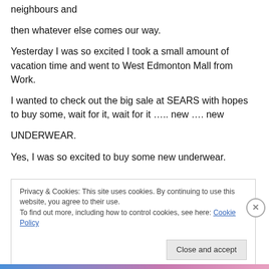neighbours and
then whatever else comes our way.
Yesterday I was so excited I took a small amount of vacation time and went to West Edmonton Mall from Work.
I wanted to check out the big sale at SEARS with hopes to buy some, wait for it, wait for it ….. new …. new
UNDERWEAR.
Yes, I was so excited to buy some new underwear.
Privacy & Cookies: This site uses cookies. By continuing to use this website, you agree to their use.
To find out more, including how to control cookies, see here: Cookie Policy